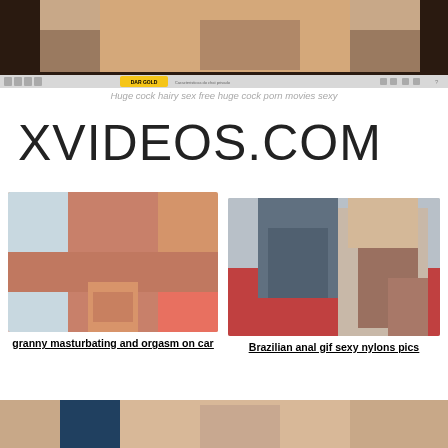[Figure (screenshot): Browser screenshot showing adult video content with browser toolbar including DAR GOLD button]
Huge cock hairy sex free huge cock porn movies sexy
XVIDEOS.COM
[Figure (photo): Adult content thumbnail - granny masturbating and orgasm on car]
granny masturbating and orgasm on car
[Figure (photo): Adult content thumbnail - Brazilian anal gif sexy nylons pics]
Brazilian anal gif sexy nylons pics
[Figure (photo): Adult content thumbnail at bottom of page, partially cropped]